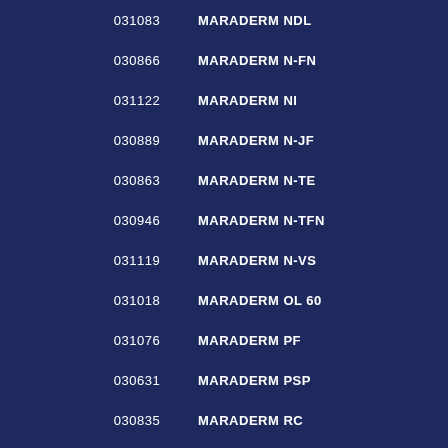031083  MARADERM NDL
030866  MARADERM N-FN
031122  MARADERM NI
030889  MARADERM N-JF
030863  MARADERM N-TE
030946  MARADERM N-TFN
031119  MARADERM N-VS
031018  MARADERM OL 60
031076  MARADERM PF
030631  MARADERM PSP
030835  MARADERM RC